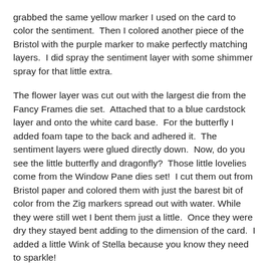grabbed the same yellow marker I used on the card to color the sentiment.  Then I colored another piece of the Bristol with the purple marker to make perfectly matching layers.  I did spray the sentiment layer with some shimmer spray for that little extra.
The flower layer was cut out with the largest die from the Fancy Frames die set.  Attached that to a blue cardstock layer and onto the white card base.  For the butterfly I added foam tape to the back and adhered it.  The sentiment layers were glued directly down.  Now, do you see the little butterfly and dragonfly?  Those little lovelies come from the Window Pane dies set!  I cut them out from Bristol paper and colored them with just the barest bit of color from the Zig markers spread out with water. While they were still wet I bent them just a little.  Once they were dry they stayed bent adding to the dimension of the card.  I added a little Wink of Stella because you know they need to sparkle!
Have a lovely day!
~Kristina